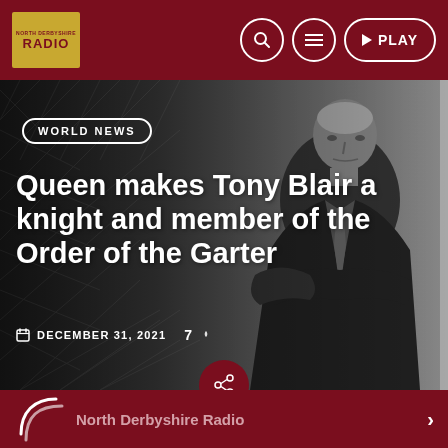RADIO — navigation bar with search, menu, and PLAY buttons
[Figure (screenshot): Grayscale photo of a man (Tony Blair) in a dark suit with arms crossed, standing in front of a geometric patterned wall]
WORLD NEWS
Queen makes Tony Blair a knight and member of the Order of the Garter
DECEMBER 31, 2021   7
North Derbyshire Radio